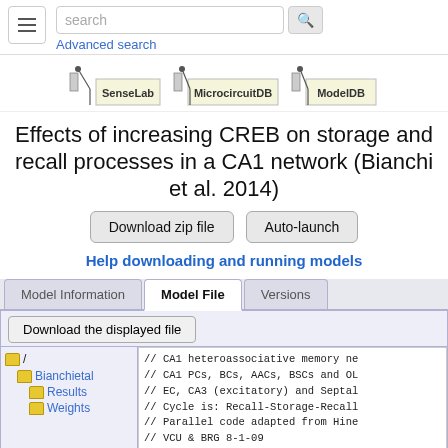search | Advanced search
[Figure (logo): SenseLab, MicrocircuitDB, and ModelDB logos]
Effects of increasing CREB on storage and recall processes in a CA1 network (Bianchi et al. 2014)
Download zip file | Auto-launch
Help downloading and running models
Model Information | Model File | Versions
Download the displayed file
/ Bianchietal Results Weights
// CA1 heteroassociative memory ne
// CA1 PCs, BCs, AACs, BSCs and OL
// EC, CA3 (excitatory) and Septal
// Cycle is: Recall-Storage-Recall
// Parallel code adapted from Hine
// VCU & BRG 8-1-09